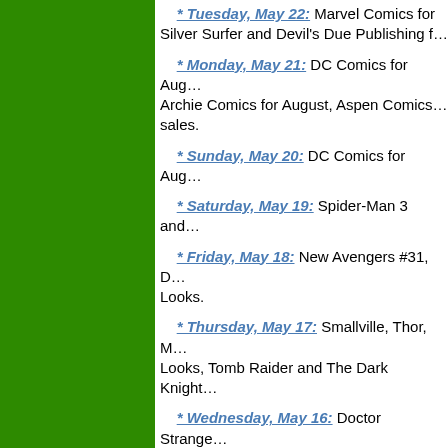* Tuesday, May 22: Marvel Comics for Silver Surfer and Devil's Due Publishing f…
* Monday, May 21: DC Comics for Aug… Archie Comics for August, Aspen Comics… sales.
* Sunday, May 20: DC Comics for Aug…
* Saturday, May 19: Spider-Man 3 and…
* Friday, May 18: New Avengers #31, D… Looks.
* Thursday, May 17: Smallville, Thor, M… Looks, Tomb Raider and The Dark Knight…
* Wednesday, May 16: Doctor Strange… Dark Horse First Looks, Top Cow First Lo…
* Tuesday, May 15: Smallville, Super B… Incredible Hulk and First Looks.
* Monday, May 14: Aspen Comics' Iron… Painkiller Jane, First Looks and Image Co…